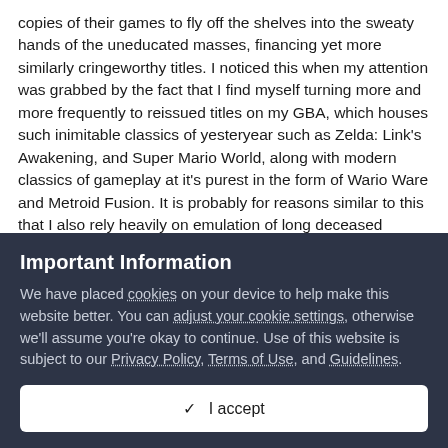copies of their games to fly off the shelves into the sweaty hands of the uneducated masses, financing yet more similarly cringeworthy titles. I noticed this when my attention was grabbed by the fact that I find myself turning more and more frequently to reissued titles on my GBA, which houses such inimitable classics of yesteryear such as Zelda: Link's Awakening, and Super Mario World, along with modern classics of gameplay at it's purest in the form of Wario Ware and Metroid Fusion. It is probably for reasons similar to this that I also rely heavily on emulation of long deceased consoles for my enjoyable gameplay fix. A worrying state of affairs, indeed.
God, I hope that made sense. Should have put a bit of planning
Important Information
We have placed cookies on your device to help make this website better. You can adjust your cookie settings, otherwise we'll assume you're okay to continue. Use of this website is subject to our Privacy Policy, Terms of Use, and Guidelines.
✓ I accept